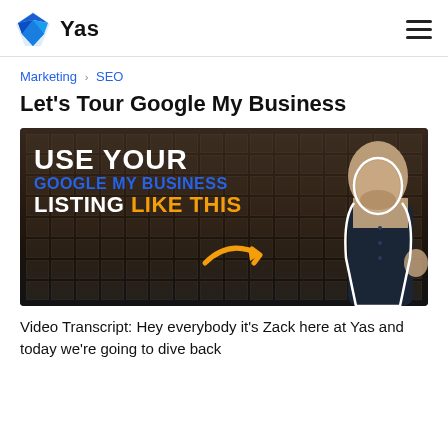Yas
Marketing › SEO
Let's Tour Google My Business
[Figure (photo): Thumbnail image for a YouTube video. Dark background with a brick office building. White bold text reads 'USE YOUR' on the first line, blue text 'GOOGLE MY BUSINESS' on the second line, white text 'LISTING' followed by orange text 'LIKE THIS' on the third line. An orange arrow graphic points to the right. A man in a dark shirt is cutout on the right side of the image.]
Video Transcript: Hey everybody it's Zack here at Yas and today we're going to dive back into Google My Business and this time we